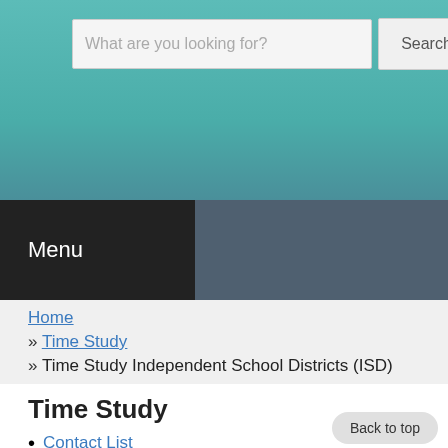[Figure (screenshot): Website header with teal background containing a search bar with placeholder text 'What are you looking for?' and a Search button]
Menu
Home
» Time Study
» Time Study Independent School Districts (ISD)
Time Study
Contact List
Time Study Early Childhood Intervention (ECI)